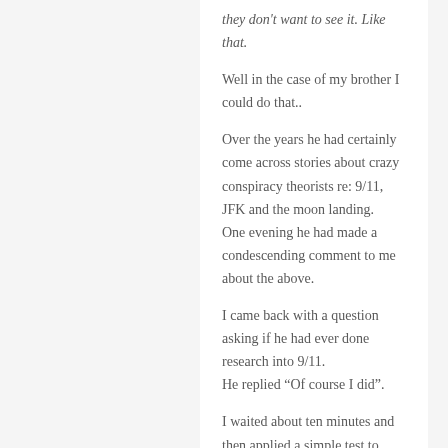they don't want to see it. Like that.
Well in the case of my brother I could do that..
Over the years he had certainly come across stories about crazy conspiracy theorists re: 9/11, JFK and the moon landing.
One evening he had made a condescending comment to me about the above.
I came back with a question asking if he had ever done research into 9/11.
He replied “Of course I did”.
I waited about ten minutes and then applied a simple test to learn that he hadn’t done any research